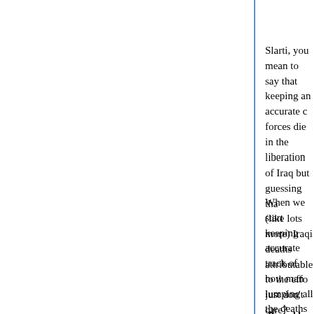Slarti, you mean to say that keeping an accurate count of how many coalition forces die in the liberation of Iraq but guessing that there might be 30k or more (like lots more) Iraqi deaths attributable to the effort doesn't mean that we really just don't care?
When we start keeping accurate track of how many Iraqis die and stop lumping all the deaths together like they were equivalent, then I'll think we actually care a smidgen.
Posted by: Jake - but not the one | March 22, 2006 at 09:38
"Please, let's not go there"
My attitude towards this entire "controversy". Is this really worth a blogosphere-wide flame war?
Posted by: Dantheman | March 22, 2006 at 09:54 AM
Slarti, you mean to say that keeping an accurate count of how many coalition forces die in the liberation of Iraq but guessing that there might be 30k or more (like lots more) Iraqi deaths attributable to the effort doesn't mean that we really jus...